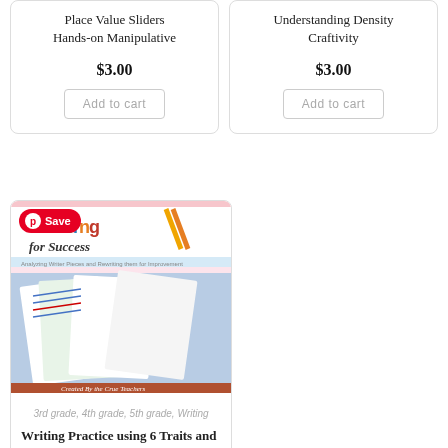Place Value Sliders Hands-on Manipulative
$3.00
Add to cart
Understanding Density Craftivity
$3.00
Add to cart
[Figure (photo): Product image for Writing Practice using 6 Traits and Analyzing — shows worksheets and writing materials with Pinterest Save button overlay]
3rd grade, 4th grade, 5th grade, Writing
Writing Practice using 6 Traits and Analyzing